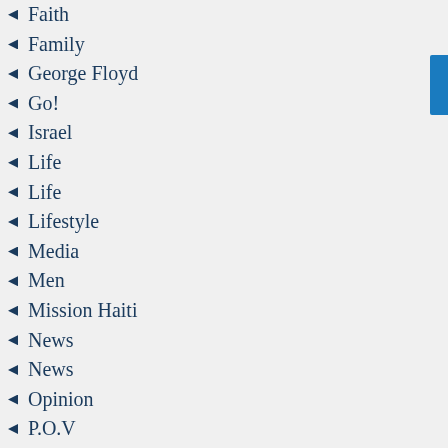Faith
Family
George Floyd
Go!
Israel
Life
Life
Lifestyle
Media
Men
Mission Haiti
News
News
Opinion
P.O.V
Politics
Politics
Sponsored
Sports